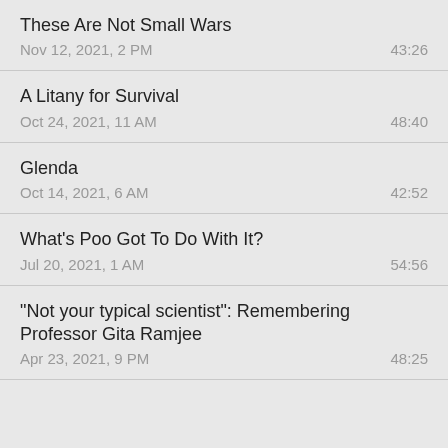These Are Not Small Wars
Nov 12, 2021, 2 PM	43:26
A Litany for Survival
Oct 24, 2021, 11 AM	48:40
Glenda
Oct 14, 2021, 6 AM	42:52
What's Poo Got To Do With It?
Jul 20, 2021, 1 AM	54:56
"Not your typical scientist": Remembering Professor Gita Ramjee
Apr 23, 2021, 9 PM	48:25